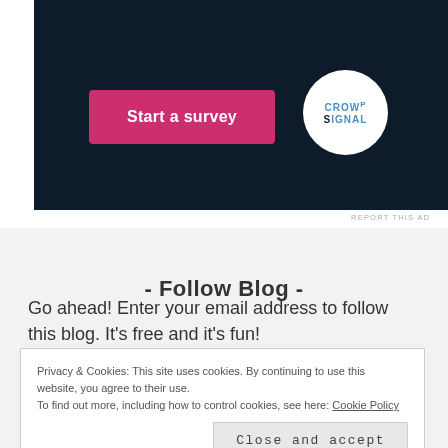[Figure (screenshot): Dark navy advertisement banner with a pink 'Start a survey' button on the left and a circular white Crowdsignal logo on the right.]
REPORT THIS AD
- Follow Blog -
Go ahead! Enter your email address to follow this blog. It's free and it's fun!
Privacy & Cookies: This site uses cookies. By continuing to use this website, you agree to their use.
To find out more, including how to control cookies, see here: Cookie Policy
Close and accept